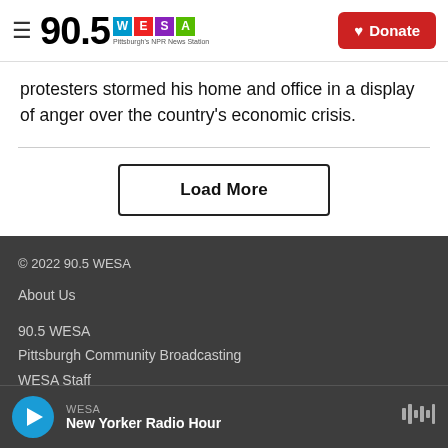90.5 WESA — Pittsburgh's NPR News Station | Donate
protesters stormed his home and office in a display of anger over the country's economic crisis.
Load More
© 2022 90.5 WESA
About Us
90.5 WESA
Pittsburgh Community Broadcasting
WESA Staff
WESA — New Yorker Radio Hour